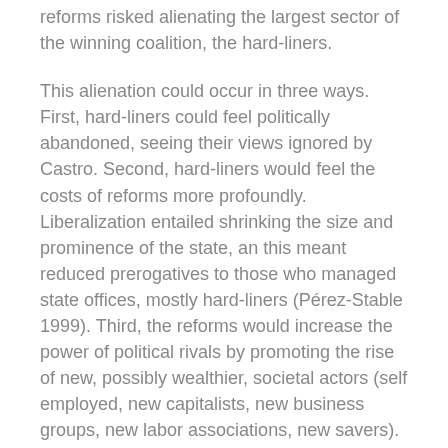reforms risked alienating the largest sector of the winning coalition, the hard-liners.
This alienation could occur in three ways. First, hard-liners could feel politically abandoned, seeing their views ignored by Castro. Second, hard-liners would feel the costs of reforms more profoundly. Liberalization entailed shrinking the size and prominence of the state, an this meant reduced prerogatives to those who managed state offices, mostly hard-liners (Pérez-Stable 1999). Third, the reforms would increase the power of political rivals by promoting the rise of new, possibly wealthier, societal actors (self employed, new capitalists, new business groups, new labor associations, new savers). By empowering civil society, reformers can undermine the monopoly of political power held by hard-liners in authoritarian contexts (see Feng 2000:204).